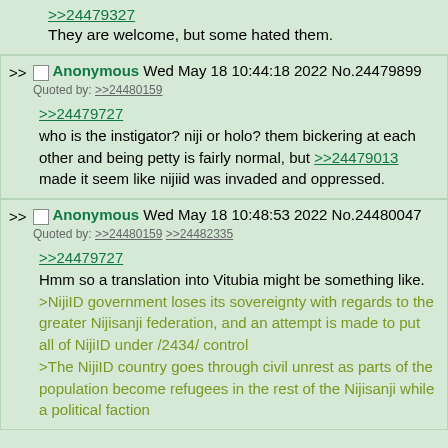>>24479327
They are welcome, but some hated them.
Anonymous Wed May 18 10:44:18 2022 No.24479899
Quoted by: >>24480159
>>24479727
who is the instigator? niji or holo? them bickering at each other and being petty is fairly normal, but >>24479013 made it seem like nijiid was invaded and oppressed.
Anonymous Wed May 18 10:48:53 2022 No.24480047
Quoted by: >>24480159 >>24482335
>>24479727
Hmm so a translation into Vitubia might be something like.
>NijiID government loses its sovereignty with regards to the greater Nijisanji federation, and an attempt is made to put all of NijiID under /2434/ control
>The NijiID country goes through civil unrest as parts of the population become refugees in the rest of the Nijisanji while a political faction...